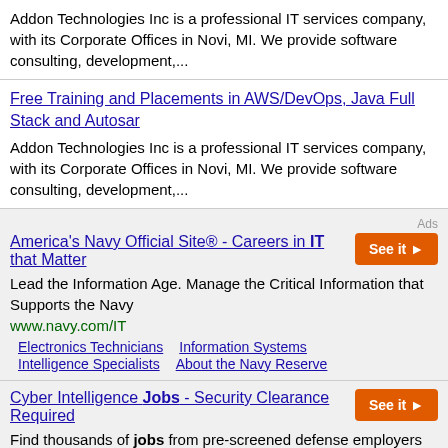Addon Technologies Inc is a professional IT services company, with its Corporate Offices in Novi, MI. We provide software consulting, development,...
Free Training and Placements in AWS/DevOps, Java Full Stack and Autosar
Addon Technologies Inc is a professional IT services company, with its Corporate Offices in Novi, MI. We provide software consulting, development,...
America's Navy Official Site® - Careers in IT that Matter
Lead the Information Age. Manage the Critical Information that Supports the Navy
www.navy.com/IT
Electronics Technicians
Information Systems
Intelligence Specialists
About the Navy Reserve
Cyber Intelligence Jobs - Security Clearance Required
Find thousands of jobs from pre-screened defense employers and government contractors. Find jobs requiring security clearance from over 1,600 pre-screened hiring companies. www.clearancejobs.com/join
Learn More
Join Now
Hiring?
Hiring?